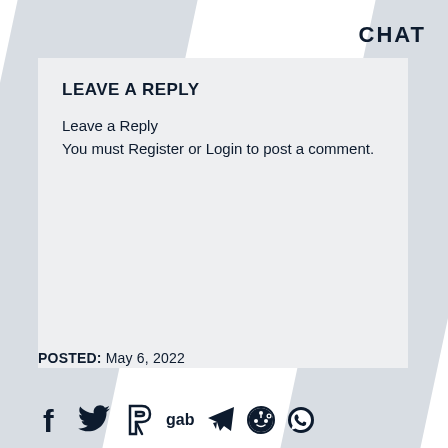CHAT
LEAVE A REPLY
Leave a Reply
You must Register or Login to post a comment.
POSTED: May 6, 2022
[Figure (other): Social media share icons: Facebook, Twitter, Parler, Gab, Telegram, Reddit, WhatsApp]